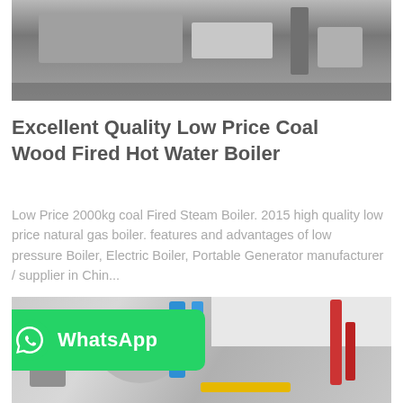[Figure (photo): Industrial machinery or boiler equipment photo at the top of the page]
Excellent Quality Low Price Coal Wood Fired Hot Water Boiler
Low Price 2000kg coal Fired Steam Boiler. 2015 high quality low price natural gas boiler. features and advantages of low pressure Boiler, Electric Boiler, Portable Generator manufacturer / supplier in Chin...
[Figure (photo): Industrial boiler room with blue pipes, red pipes, yellow pipes, and large cylindrical boiler equipment. WhatsApp badge overlay in bottom-left corner.]